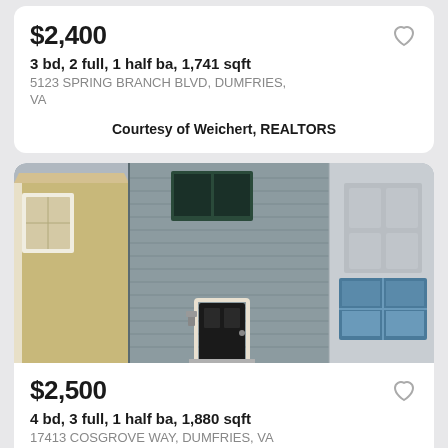$2,400
3 bd, 2 full, 1 half ba, 1,741 sqft
5123 SPRING BRANCH BLVD, DUMFRIES, VA
Courtesy of Weichert, REALTORS
[Figure (photo): Exterior photo of townhouses showing tan, gray, and light gray siding with a dark front door, windows, and entry steps]
$2,500
4 bd, 3 full, 1 half ba, 1,880 sqft
17413 COSGROVE WAY, DUMFRIES, VA